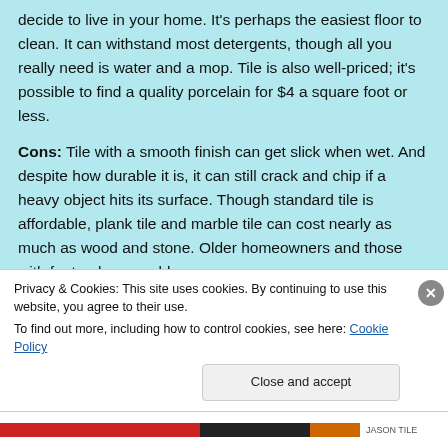decide to live in your home. It's perhaps the easiest floor to clean. It can withstand most detergents, though all you really need is water and a mop. Tile is also well-priced; it's possible to find a quality porcelain for $4 a square foot or less.
Cons: Tile with a smooth finish can get slick when wet. And despite how durable it is, it can still crack and chip if a heavy object hits its surface. Though standard tile is affordable, plank tile and marble tile can cost nearly as much as wood and stone. Older homeowners and those with foot or knee problems
Privacy & Cookies: This site uses cookies. By continuing to use this website, you agree to their use.
To find out more, including how to control cookies, see here: Cookie Policy
Close and accept